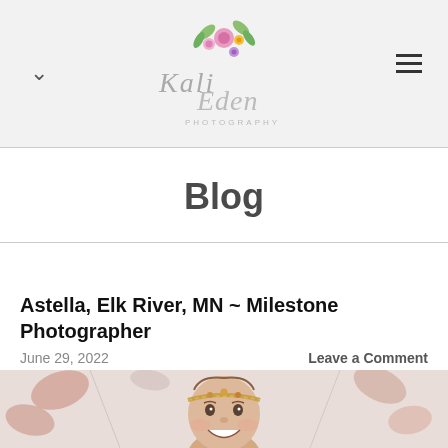Kali Eden Photography — navigation header with logo, chevron dropdown, and hamburger menu
Blog
Astella, Elk River, MN ~ Milestone Photographer
June 29, 2022   Leave a Comment
[Figure (photo): Baby girl smiling at camera, wearing a floral headband, seated against a floral backdrop with pink/terracotta tones]